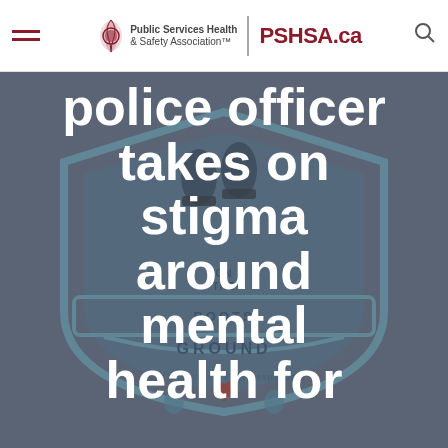Public Services Health & Safety Association™ | PSHSA.ca
[Figure (logo): Boots on the Ground - Peer Support for First Responders shield logo with police boots, maple leaf, and emergency responder icons (firefighter, police, paramedic). Background is dark grey. Logo is semi-transparent watermark.]
police officer takes on stigma around mental health for